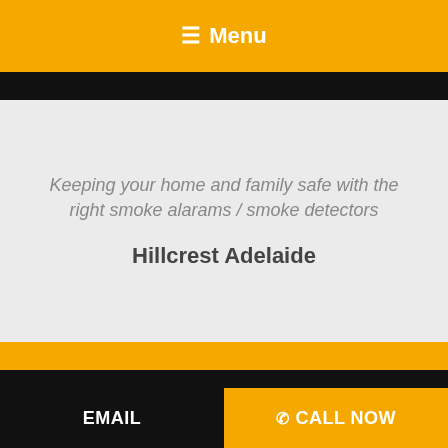☰ Menu
Keeping your home and family safe with the right smoke alarams / smoke detectors
Hillcrest Adelaide
EMAIL   ✆ CALL NOW